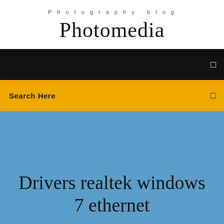Photography blog
Photomedia
[Figure (screenshot): Black navigation bar with a small white icon on the right]
Search Here
Drivers realtek windows 7 ethernet